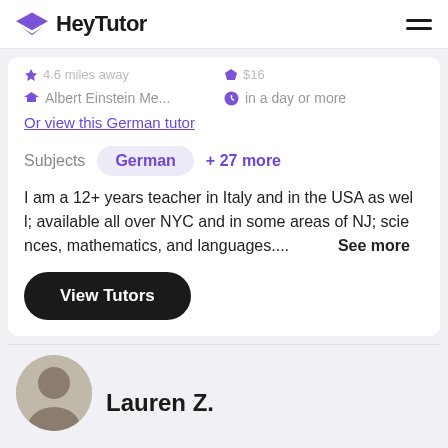HeyTutor
Albert Einstein Me...    in a day or more
Or view this German tutor
Subjects   German   + 27 more
I am a 12+ years teacher in Italy and in the USA as well; available all over NYC and in some areas of NJ; sciences, mathematics, and languages....  See more
View Tutors
Lauren Z.